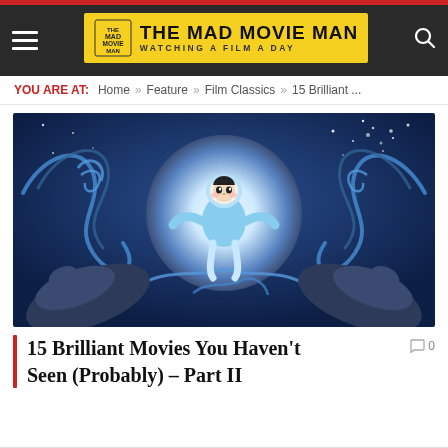THE MAD MOVIE MAN — WATCHING A FILM A DAY
YOU ARE AT: Home » Feature » Film Classics » 15 Brilliant ...
[Figure (illustration): Animated movie still showing a child in a blue fur-trimmed parka floating in front of a large glowing moon, surrounded by blue decorative wave swirls and two dark seals in the foreground against a deep blue night sky.]
15 Brilliant Movies You Haven't Seen (Probably) – Part II